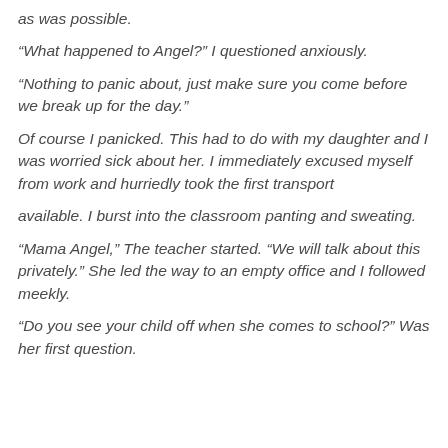as was possible.
“What happened to Angel?” I questioned anxiously.
“Nothing to panic about, just make sure you come before we break up for the day.”
Of course I panicked. This had to do with my daughter and I was worried sick about her. I immediately excused myself from work and hurriedly took the first transport
available. I burst into the classroom panting and sweating.
“Mama Angel,” The teacher started. “We will talk about this privately.” She led the way to an empty office and I followed meekly.
“Do you see your child off when she comes to school?” Was her first question.